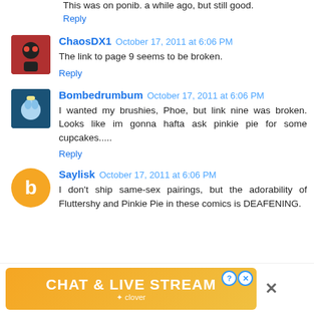This was on ponib. a while ago, but still good.
Reply
ChaosDX1  October 17, 2011 at 6:06 PM
The link to page 9 seems to be broken.
Reply
Bombedrumbum  October 17, 2011 at 6:06 PM
I wanted my brushies, Phoe, but link nine was broken. Looks like im gonna hafta ask pinkie pie for some cupcakes.....
Reply
Saylisk  October 17, 2011 at 6:06 PM
I don't ship same-sex pairings, but the adorability of Fluttershy and Pinkie Pie in these comics is DEAFENING.
[Figure (other): Advertisement banner: orange/yellow gradient with text CHAT & LIVE STREAM and a clover logo]